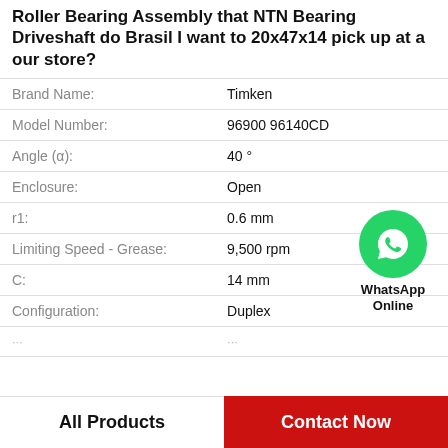Roller Bearing Assembly that NTN Bearing Driveshaft do Brasil I want to 20x47x14 pick up at a our store?
| Property | Value |
| --- | --- |
| Brand Name: | Timken |
| Model Number: | 96900 96140CD |
| Angle (α): | 40 ° |
| Enclosure: | Open |
| r1: | 0.6 mm |
| Limiting Speed - Grease: | 9,500 rpm |
| C: | 14 mm |
| Configuration: | Duplex |
[Figure (logo): WhatsApp Online green circle icon with phone handset, labeled WhatsApp Online]
All Products
Contact Now